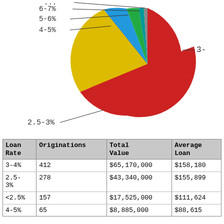[Figure (pie-chart): Loan Rate Distribution]
| Loan Rate | Originations | Total Value | Average Loan |
| --- | --- | --- | --- |
| 3-4% | 412 | $65,170,000 | $158,180 |
| 2.5-3% | 278 | $43,340,000 | $155,899 |
| <2.5% | 157 | $17,525,000 | $111,624 |
| 4-5% | 65 | $8,885,000 | $88,615 |